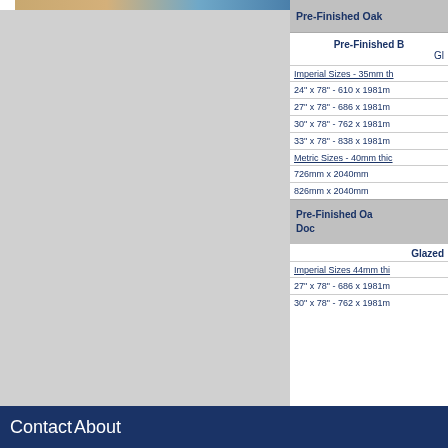[Figure (photo): Partial view of oak door/flooring image at top left]
Pre-Finished Oak
Pre-Finished B
Gl
Imperial Sizes - 35mm th
24" x 78" - 610 x 1981m
27" x 78" - 686 x 1981m
30" x 78" - 762 x 1981m
33" x 78" - 838 x 1981m
Metric Sizes - 40mm thic
726mm x 2040mm
826mm x 2040mm
Pre-Finished Oa
Doc
Glazed
Imperial Sizes 44mm thi
27" x 78" - 686 x 1981m
30" x 78" - 762 x 1981m
Contact About